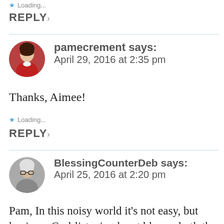Loading...
REPLY ▸
pamecrement says: April 29, 2016 at 2:35 pm
Thanks, Aimee!
Loading...
REPLY ▸
BlessingCounterDeb says: April 25, 2016 at 2:20 pm
Pam, In this noisy world it's not easy, but having a God-listening heart blesses both the listener and